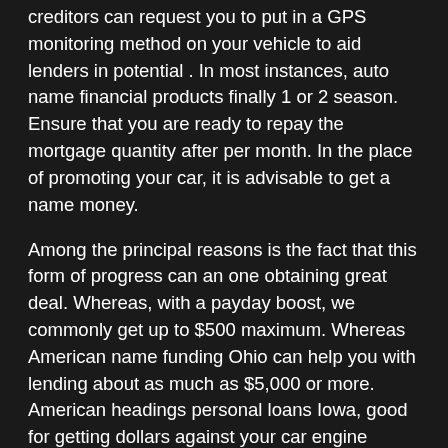creditors can request you to put in a GPS monitoring method on your vehicle to aid lenders in potential . In most instances, auto name financial products finally 1 or 2 season. Ensure that you are ready to repay the mortgage quantity after per month. In the place of promoting your car, it is advisable to get a name money.
Among the principal reasons is the fact that this form of progress can an one obtaining great deal. Whereas, with a payday boost, we commonly get up to $500 maximum. Whereas American name funding Ohio can help you with lending about as much as $5,000 or more. American headings personal loans Iowa, good for getting dollars against your car engine vehicle. Based around your car's worth, a moneylender choose how much cash you can actually acquire.
See Ohio Name Funding Correct